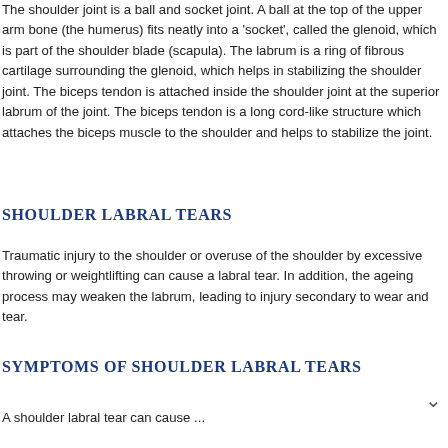The shoulder joint is a ball and socket joint. A ball at the top of the upper arm bone (the humerus) fits neatly into a 'socket', called the glenoid, which is part of the shoulder blade (scapula). The labrum is a ring of fibrous cartilage surrounding the glenoid, which helps in stabilizing the shoulder joint. The biceps tendon is attached inside the shoulder joint at the superior labrum of the joint. The biceps tendon is a long cord-like structure which attaches the biceps muscle to the shoulder and helps to stabilize the joint.
SHOULDER LABRAL TEARS
Traumatic injury to the shoulder or overuse of the shoulder by excessive throwing or weightlifting can cause a labral tear. In addition, the ageing process may weaken the labrum, leading to injury secondary to wear and tear.
SYMPTOMS OF SHOULDER LABRAL TEARS
A shoulder labral tear can cause...